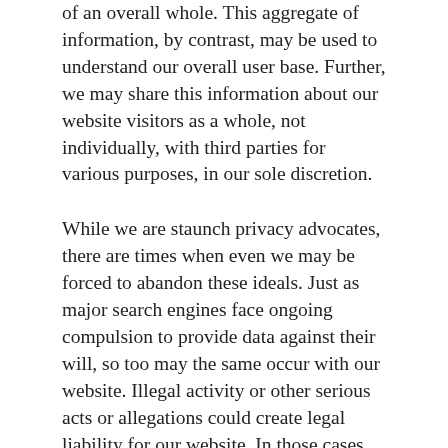of an overall whole. This aggregate of information, by contrast, may be used to understand our overall user base. Further, we may share this information about our website visitors as a whole, not individually, with third parties for various purposes, in our sole discretion.
While we are staunch privacy advocates, there are times when even we may be forced to abandon these ideals. Just as major search engines face ongoing compulsion to provide data against their will, so too may the same occur with our website. Illegal activity or other serious acts or allegations could create legal liability for our website. In those cases, we reserve the right to share your information, or else may simply be compelled to do so by law.
On the other hand, there may be times when we would need to share your private information in order to protect